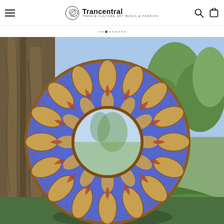Trancentral — Trance Culture Art Music & Fashion
[Figure (photo): A large circular mandala-style mirror with intricate blue, gold, and red laser-cut wooden decorative frame, photographed outdoors leaning against a tree trunk with green foliage in the background.]